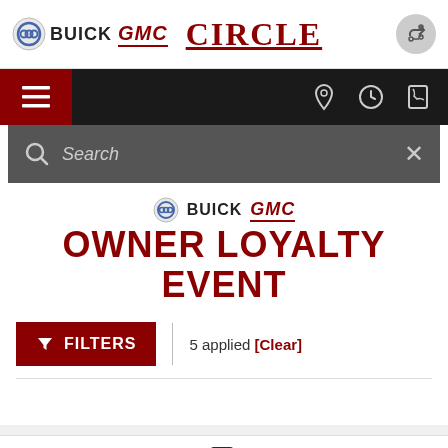[Figure (screenshot): Buick GMC Circle dealership mobile website screenshot showing navigation header, search bar, Owner Loyalty Event banner, filter controls, and bottom navigation bar]
Buick GMC Circle
OWNER LOYALTY EVENT
5 applied [Clear]
Messages  Location  Contact Us